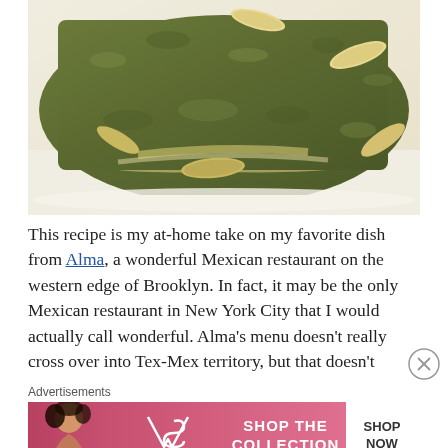[Figure (photo): Close-up photo of Mexican enchiladas covered in green mole sauce with sliced almonds on top, served in a white baking dish]
This recipe is my at-home take on my favorite dish from Alma, a wonderful Mexican restaurant on the western edge of Brooklyn. In fact, it may be the only Mexican restaurant in New York City that I would actually call wonderful. Alma’s menu doesn’t really cross over into Tex-Mex territory, but that doesn’t
Advertisements
[Figure (infographic): Victoria's Secret advertisement banner with model, VS logo, text 'SHOP THE COLLECTION', and 'SHOP NOW' button]